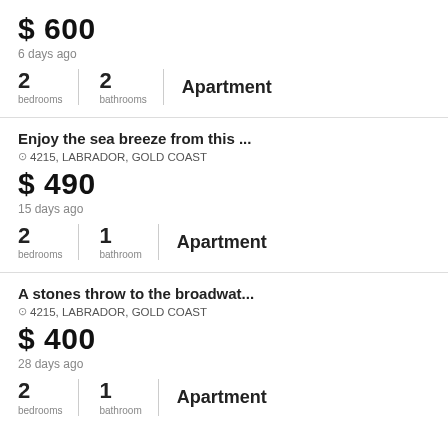$ 600
6 days ago
2 bedrooms | 2 bathrooms | Apartment
Enjoy the sea breeze from this ...
4215, LABRADOR, GOLD COAST
$ 490
15 days ago
2 bedrooms | 1 bathroom | Apartment
A stones throw to the broadwat...
4215, LABRADOR, GOLD COAST
$ 400
28 days ago
2 bedrooms | 1 bathroom | Apartment